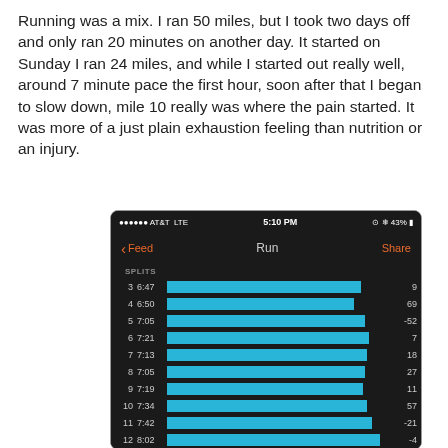Running was a mix. I ran 50 miles, but I took two days off and only ran 20 minutes on another day. It started on Sunday I ran 24 miles, and while I started out really well, around 7 minute pace the first hour, soon after that I began to slow down, mile 10 really was where the pain started. It was more of a just plain exhaustion feeling than nutrition or an injury.
[Figure (screenshot): iPhone screenshot of a running app showing split times and bar chart for miles 3-12. AT&T LTE 5:10 PM 43% battery. Navigation: Feed | Run | Share. SPLITS section with rows: 3=6:47, 4=6:50, 5=7:05, 6=7:21, 7=7:13, 8=7:05, 9=7:19, 10=7:34, 11=7:42, 12=8:02. Right column values: 9, 69, -52, 7, 18, 27, 11, 57, -21, -4.]